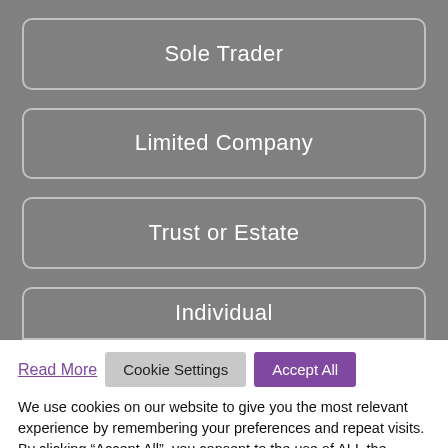Sole Trader
Limited Company
Trust or Estate
Individual
Read More
Cookie Settings
Accept All
We use cookies on our website to give you the most relevant experience by remembering your preferences and repeat visits. By clicking “Accept All”, you consent to the use of ALL the cookies. However, you may visit “Cookie Settings” to provide a controlled consent.